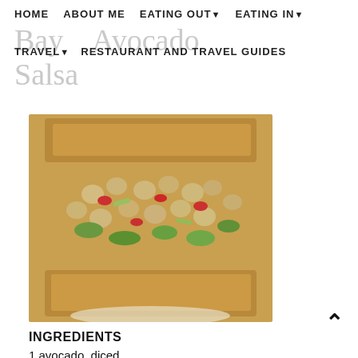HOME   ABOUT ME   EATING OUT ▾   EATING IN ▾
Bay Avocado Salsa
TRAVEL ▾   RESTAURANT AND TRAVEL GUIDES
[Figure (photo): A sandwich or toast topped with chickpea and avocado salsa with red peppers and greens]
INGREDIENTS
1 avocado, diced
1 can garbanzo beans, rinsed and drained
1 red bell pepper, finely chopped
2 celery stalks, finely chopped (I hate